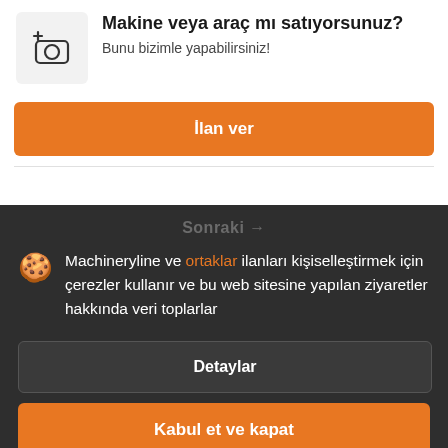[Figure (illustration): Camera icon with a plus sign, inside a light gray rounded box]
Makine veya araç mı satıyorsunuz?
Bunu bizimle yapabilirsiniz!
İlan ver
Sonraki →
Machineryline ve ortaklar ilanları kişiselleştirmek için çerezler kullanır ve bu web sitesine yapılan ziyaretler hakkında veri toplarlar
Detaylar
Kabul et ve kapat